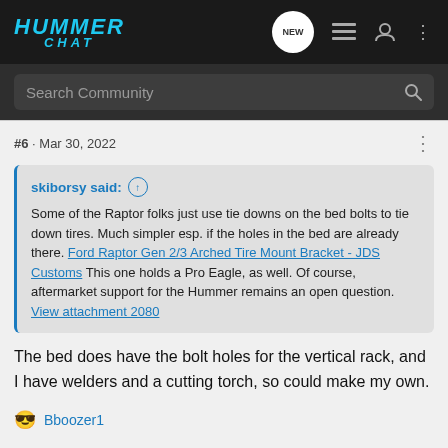HUMMER CHAT
Search Community
#6 · Mar 30, 2022
skiborsy said: ↑ Some of the Raptor folks just use tie downs on the bed bolts to tie down tires. Much simpler esp. if the holes in the bed are already there. Ford Raptor Gen 2/3 Arched Tire Mount Bracket - JDS Customs This one holds a Pro Eagle, as well. Of course, aftermarket support for the Hummer remains an open question. View attachment 2080
The bed does have the bolt holes for the vertical rack, and I have welders and a cutting torch, so could make my own.
😎 Bboozer1